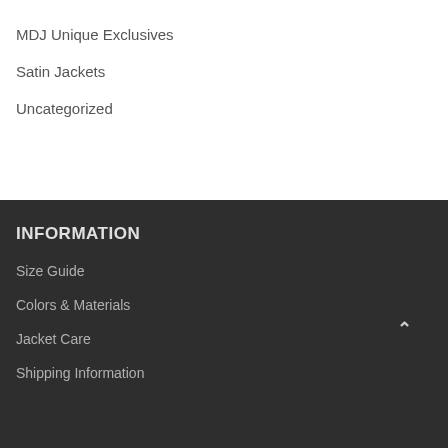MDJ Unique Exclusives
Satin Jackets
Uncategorized
INFORMATION
Size Guide
Colors & Materials
Jacket Care
Shipping Information